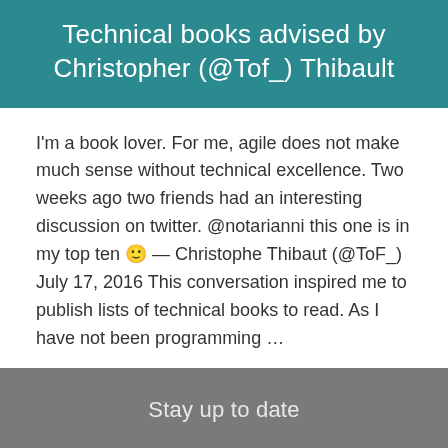Technical books advised by Christopher (@Tof_) Thibault
I'm a book lover. For me, agile does not make much sense without technical excellence. Two weeks ago two friends had an interesting discussion on twitter. @notarianni this one is in my top ten 🙂 — Christophe Thibaut (@ToF_) July 17, 2016 This conversation inspired me to publish lists of technical books to read. As I have not been programming …
Read More >
Stay up to date